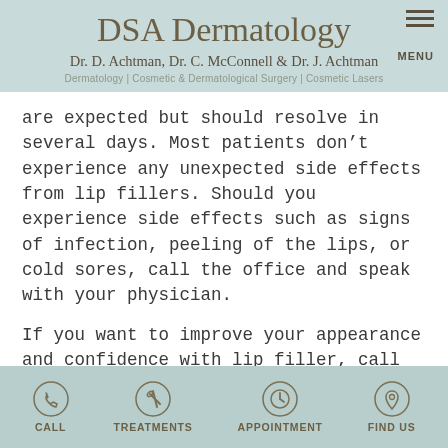DSA Dermatology
Dr. D. Achtman, Dr. C. McConnell & Dr. J. Achtman
Dermatology | Cosmetic & Dermatological Surgery | Cosmetic Lasers
are expected but should resolve in several days. Most patients don't experience any unexpected side effects from lip fillers. Should you experience side effects such as signs of infection, peeling of the lips, or cold sores, call the office and speak with your physician.
If you want to improve your appearance and confidence with lip filler, call DSA Dermatology at (972) 362-9567 today. Our team will take the time to understand your preferences and desired results and provide you with the best
CALL  TREATMENTS  APPOINTMENT  FIND US